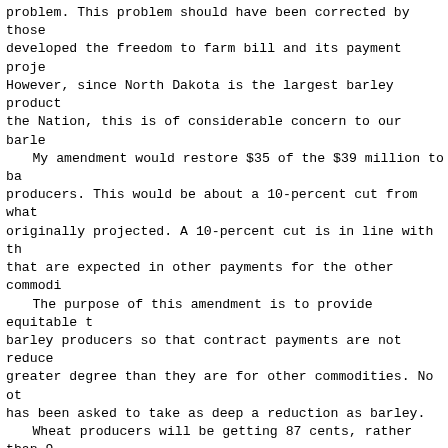problem. This problem should have been corrected by those who developed the freedom to farm bill and its payment projections. However, since North Dakota is the largest barley producer in the Nation, this is of considerable concern to our barley farmers. My amendment would restore $35 of the $39 million to barley producers. This would be about a 10-percent cut from what was originally projected. A 10-percent cut is in line with the cuts that are expected in other payments for the other commodities. The purpose of this amendment is to provide equitable treatment for barley producers so that contract payments are not reduced to a greater degree than they are for other commodities. No other crop has been asked to take as deep a reduction as barley. Wheat producers will be getting 87 cents, rather than 92 cents. That is a 5-percent reduction. Corn producers will be getting 24 cents, rather than 27 cents. That is an 11-percent reduction. Barley should not be expected to take a 30-percent cut in their payments. This is a matter of keeping faith with those family farmers who made their plans on the basis of a farm bill that was very lately passed. It is a matter of fairness to our Nation's barley producers. I am pleased that Senators Baucus, Murray, Wellstone, Conrad, and Daschle have joined me in this effort and will be original cosponsors of this legislation. Mr. CONRAD. Mr. President, I rise as an original cosponsor of legislation to correct the provisions of the Federal Agricultural Improvement and Reform Act of 1996 which unfairly penalizes barley producers. In one of the most egregious examples of mismanagement ever seen, actual payments to barley producers under the bill are dramatically lower than the original promises made by proponents of the bill. The bill we are introducing today corrects that error and gives barley producers the equal treatment they deserve.